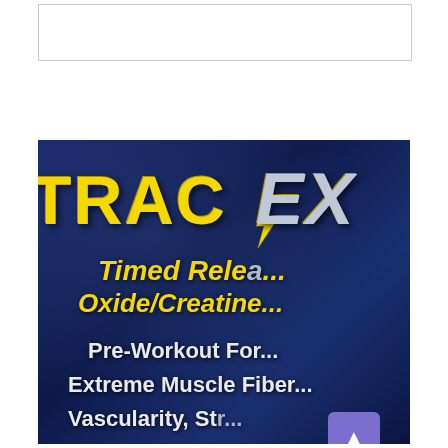[Figure (photo): Close-up of a supplement product label with dark navy blue background. Large yellow bold text reads 'TRAC EX' at the top. Below in yellow italic text: 'Timed Relea...' and 'Oxide/Creatine...'. White bold text below reads 'Pre-Workout For...', 'Extreme Muscle Fiber...', 'Vascularity, St...'. A purple scroll-to-top button is visible in the lower right area.]